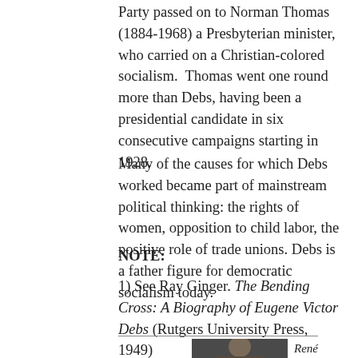Party passed on to Norman Thomas (1884-1968) a Presbyterian minister, who carried on a Christian-colored socialism.  Thomas went one round more than Debs, having been a presidential candidate in six consecutive campaigns starting in 1928.
Many of the causes for which Debs worked became part of mainstream political thinking: the rights of women, opposition to child labor, the positive role of trade unions. Debs is a father figure for democratic socialism today.
NOTE:
1) See Ray Ginger. The Bending Cross: A Biography of Eugene Victor Debs (Rutgers University Press, 1949)
[Figure (photo): Portrait photo of René Wadlow]
René Wadlow is a member